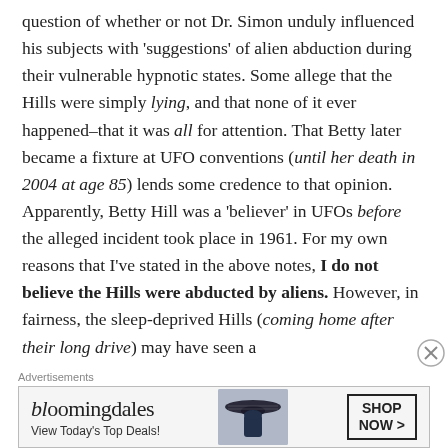question of whether or not Dr. Simon unduly influenced his subjects with 'suggestions' of alien abduction during their vulnerable hypnotic states. Some allege that the Hills were simply lying, and that none of it ever happened–that it was all for attention. That Betty later became a fixture at UFO conventions (until her death in 2004 at age 85) lends some credence to that opinion. Apparently, Betty Hill was a 'believer' in UFOs before the alleged incident took place in 1961. For my own reasons that I've stated in the above notes, I do not believe the Hills were abducted by aliens. However, in fairness, the sleep-deprived Hills (coming home after their long drive) may have seen a
Advertisements
[Figure (other): Bloomingdale's advertisement banner with logo, 'View Today's Top Deals!' text, image of woman in wide-brim hat, and 'SHOP NOW >' button]